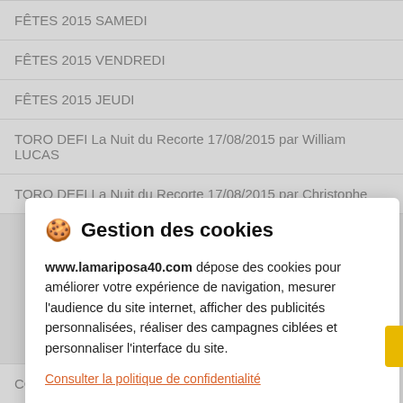FÊTES 2015 SAMEDI
FÊTES 2015 VENDREDI
FÊTES 2015 JEUDI
TORO DEFI La Nuit du Recorte 17/08/2015 par William LUCAS
TORO DEFI La Nuit du Recorte 17/08/2015 par Christophe
🍪 Gestion des cookies
www.lamariposa40.com dépose des cookies pour améliorer votre expérience de navigation, mesurer l'audience du site internet, afficher des publicités personnalisées, réaliser des campagnes ciblées et personnaliser l'interface du site.
Consulter la politique de confidentialité
REFUSER | PARAMÉTRER | ACCEPTER
CORRIDA 100% PORTUGAISE 28.07.2014